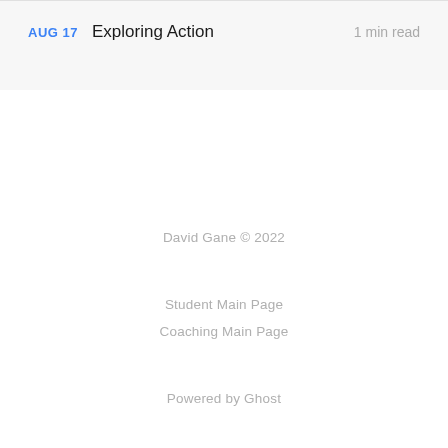AUG 17   Exploring Action   1 min read
David Gane © 2022
Student Main Page
Coaching Main Page
Powered by Ghost